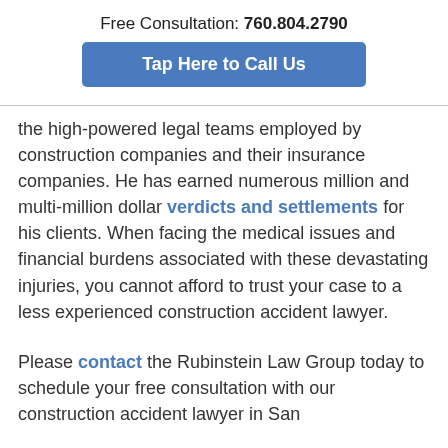Free Consultation: 760.804.2790
Tap Here to Call Us
the high-powered legal teams employed by construction companies and their insurance companies. He has earned numerous million and multi-million dollar verdicts and settlements for his clients. When facing the medical issues and financial burdens associated with these devastating injuries, you cannot afford to trust your case to a less experienced construction accident lawyer.

Please contact the Rubinstein Law Group today to schedule your free consultation with our construction accident lawyer in San